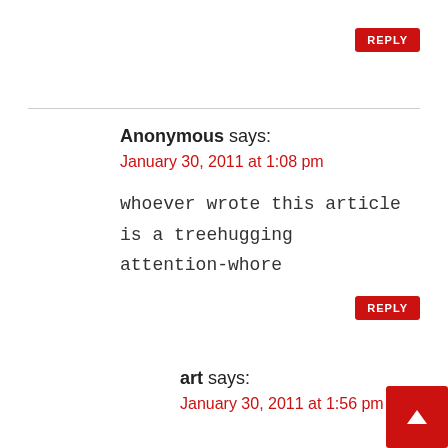REPLY
Anonymous says:
January 30, 2011 at 1:08 pm
whoever wrote this article is a treehugging attention-whore
REPLY
art says:
January 30, 2011 at 1:56 pm